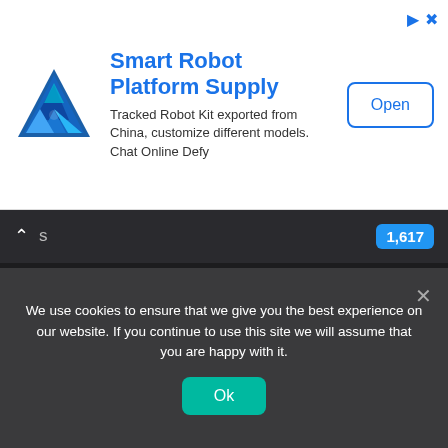[Figure (screenshot): Ad banner for Smart Robot Platform Supply with triangular logo, text about Tracked Robot Kit, and Open button]
s  1,617
Trading  1,615
Insurance  1,608
Market  1,590
Billionaire  1,139
Books  668
Celebrity  576
We use cookies to ensure that we give you the best experience on our website. If you continue to use this site we will assume that you are happy with it.